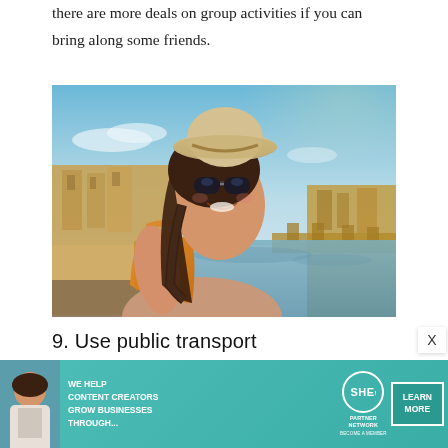there are more deals on group activities if you can bring along some friends.
[Figure (photo): Young smiling woman tourist with sunglasses and straw hat, wearing an orange backpack, standing in front of the Ponte Vecchio bridge in Florence, Italy on a sunny day.]
9. Use public transport
[Figure (infographic): Advertisement banner for SHE Media Partner Network: 'We help content creators grow businesses through...' with a Learn More button.]